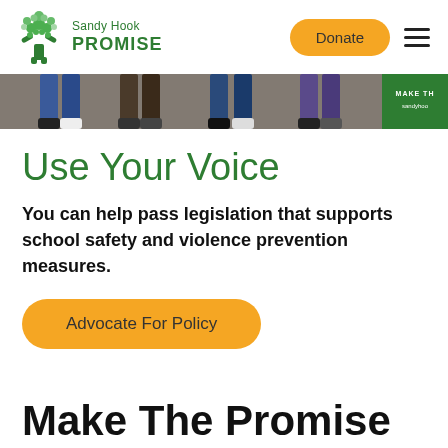[Figure (logo): Sandy Hook Promise logo — green tree with person-shaped trunk, text 'Sandy Hook PROMISE' in green]
[Figure (photo): Hero image showing feet/legs of students walking on pavement, with a green 'MAKE THE PROMISE / sandyhook' banner on the right edge]
Use Your Voice
You can help pass legislation that supports school safety and violence prevention measures.
[Figure (other): Yellow rounded button labeled 'Advocate For Policy']
Make The Promise